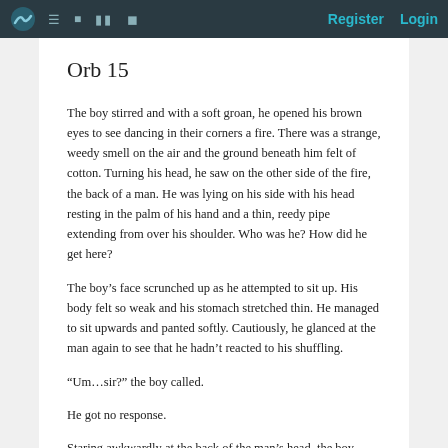Register | Login
Orb 15
The boy stirred and with a soft groan, he opened his brown eyes to see dancing in their corners a fire. There was a strange, weedy smell on the air and the ground beneath him felt of cotton. Turning his head, he saw on the other side of the fire, the back of a man. He was lying on his side with his head resting in the palm of his hand and a thin, reedy pipe extending from over his shoulder. Who was he? How did he get here?
The boy’s face scrunched up as he attempted to sit up. His body felt so weak and his stomach stretched thin. He managed to sit upwards and panted softly. Cautiously, he glanced at the man again to see that he hadn’t reacted to his shuffling.
“Um…sir?” the boy called.
He got no response.
Staring awkwardly at the back of the man’s head, the boy blinked when he recalled having fallen asleep or had that been what fainting felt like?
“Oh! Thank you for saving me.”